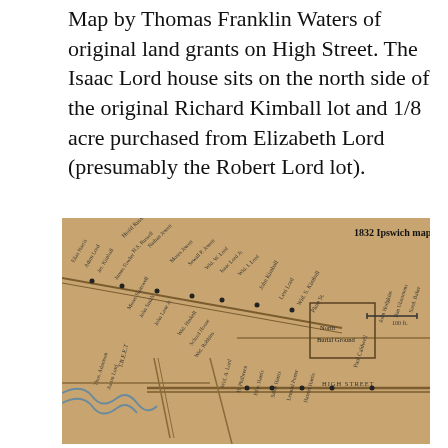Map by Thomas Franklin Waters of original land grants on High Street. The Isaac Lord house sits on the north side of the original Richard Kimball lot and 1/8 acre purchased from Elizabeth Lord (presumably the Robert Lord lot).
[Figure (map): 1832 Ipswich map showing original land grants on High Street, with property owner names labeled, including John Kimball, Levi Lord, Wid. S. Kimball, Paul Caldwell, North Burial Ground, and street layouts including High Street.]